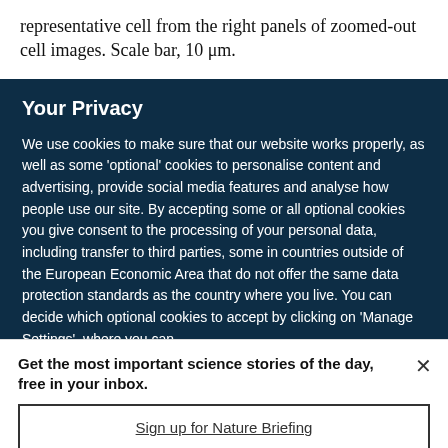representative cell from the right panels of zoomed-out cell images. Scale bar, 10 μm.
Your Privacy
We use cookies to make sure that our website works properly, as well as some 'optional' cookies to personalise content and advertising, provide social media features and analyse how people use our site. By accepting some or all optional cookies you give consent to the processing of your personal data, including transfer to third parties, some in countries outside of the European Economic Area that do not offer the same data protection standards as the country where you live. You can decide which optional cookies to accept by clicking on 'Manage Settings', where you can
Get the most important science stories of the day, free in your inbox.
Sign up for Nature Briefing